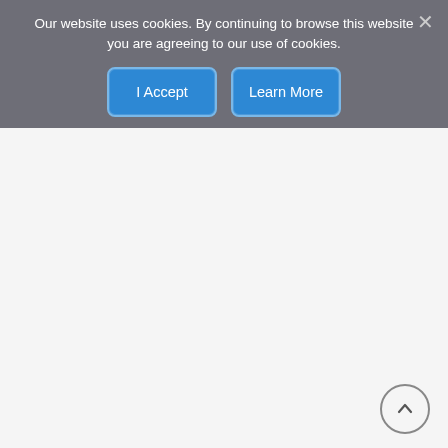Our website uses cookies. By continuing to browse this website you are agreeing to our use of cookies.
[Figure (screenshot): Cookie consent overlay with 'I Accept' and 'Learn More' buttons on a dark semi-transparent background, with a close (X) button in the top right. Below is a light gray content area. A scroll-up arrow button is in the bottom right corner.]